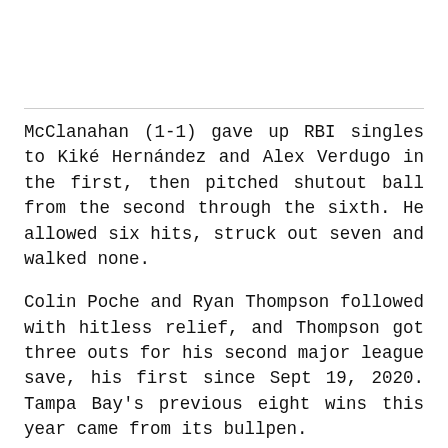McClanahan (1-1) gave up RBI singles to Kiké Hernández and Alex Verdugo in the first, then pitched shutout ball from the second through the sixth. He allowed six hits, struck out seven and walked none.
Colin Poche and Ryan Thompson followed with hitless relief, and Thompson got three outs for his second major league save, his first since Sept 19, 2020. Tampa Bay's previous eight wins this year came from its bullpen.
Boston starter Rich Hill, actvated from the bereavement/family medical emergency list, gave up four hits and three walks in four shutout innings that